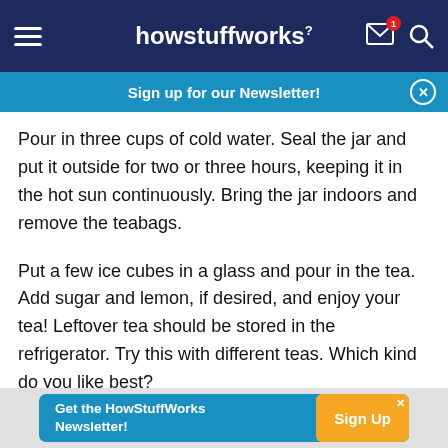howstuffworks
Sign up for our Newsletter!
Pour in three cups of cold water. Seal the jar and put it outside for two or three hours, keeping it in the hot sun continuously. Bring the jar indoors and remove the teabags.
Put a few ice cubes in a glass and pour in the tea. Add sugar and lemon, if desired, and enjoy your tea! Leftover tea should be stored in the refrigerator. Try this with different teas. Which kind do you like best?
Get the HowStuffWorks Newsletter! Sign Up